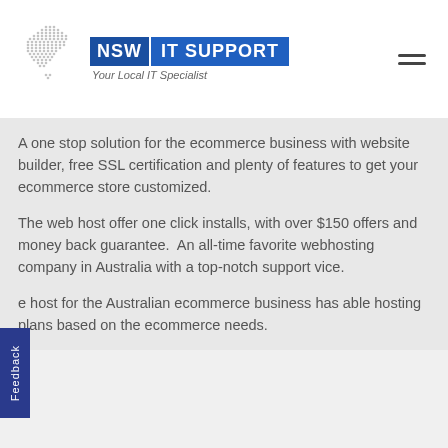[Figure (logo): NSW IT Support logo with dotted map of Australia, blue NSW badge, blue IT SUPPORT banner, italic tagline 'Your Local IT Specialist']
A one stop solution for the ecommerce business with website builder, free SSL certification and plenty of features to get your ecommerce store customized.
The web host offer one click installs, with over $150 offers and money back guarantee.  An all-time favorite webhosting company in Australia with a top-notch support vice.
e host for the Australian ecommerce business has able hosting plans based on the ecommerce needs.